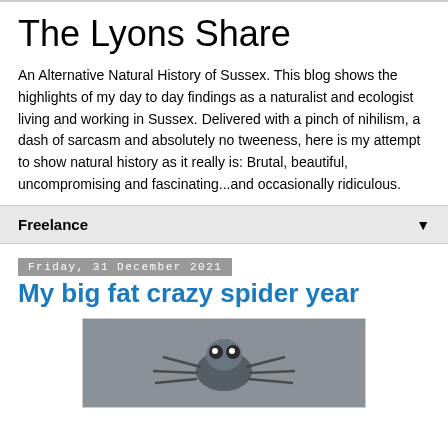The Lyons Share
An Alternative Natural History of Sussex. This blog shows the highlights of my day to day findings as a naturalist and ecologist living and working in Sussex. Delivered with a pinch of nihilism, a dash of sarcasm and absolutely no tweeness, here is my attempt to show natural history as it really is: Brutal, beautiful, uncompromising and fascinating...and occasionally ridiculous.
Freelance
Friday, 31 December 2021
My big fat crazy spider year
[Figure (photo): Close-up photograph of a jumping spider facing the camera, showing large eyes and fuzzy body]